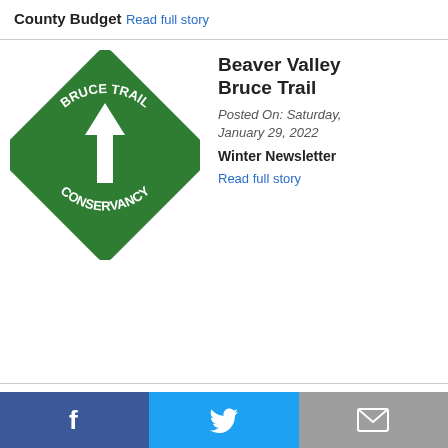County Budget
Read full story
Beaver Valley Bruce Trail
Posted On: Saturday, January 29, 2022
Winter Newsletter
Read full story
[Figure (logo): Bruce Trail Conservancy diamond-shaped green logo with white upward arrow and text 'BRUCE TRAIL CONSERVANCY']
Facebook | Twitter | Email social share bar